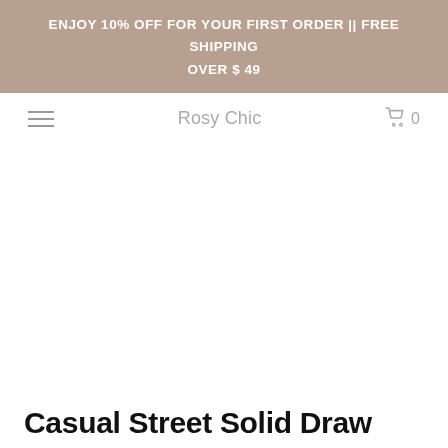ENJOY 10% OFF FOR YOUR FIRST ORDER || FREE SHIPPING OVER $ 49
Rosy Chic
Casual Street Solid Draw